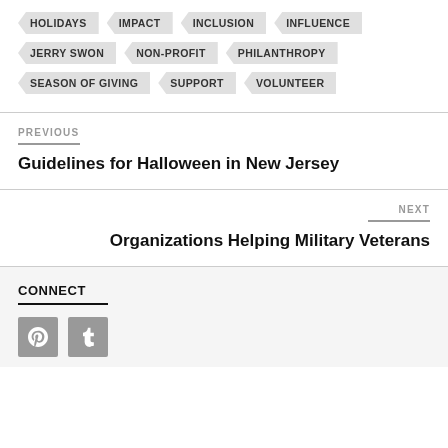HOLIDAYS
IMPACT
INCLUSION
INFLUENCE
JERRY SWON
NON-PROFIT
PHILANTHROPY
SEASON OF GIVING
SUPPORT
VOLUNTEER
PREVIOUS
Guidelines for Halloween in New Jersey
NEXT
Organizations Helping Military Veterans
CONNECT